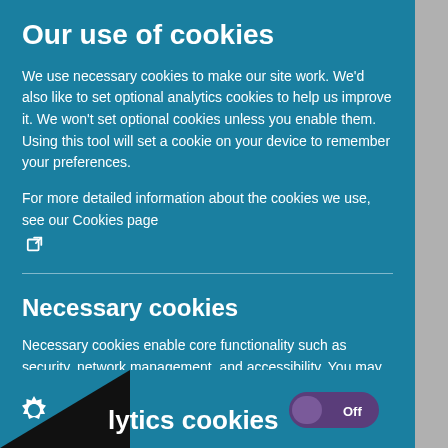Our use of cookies
We use necessary cookies to make our site work. We'd also like to set optional analytics cookies to help us improve it. We won't set optional cookies unless you enable them. Using this tool will set a cookie on your device to remember your preferences.
For more detailed information about the cookies we use, see our Cookies page
Necessary cookies
Necessary cookies enable core functionality such as security, network management, and accessibility. You may disable these by changing your browser settings, but this may affect how the website functions.
lytics cookies
[Figure (other): Toggle switch in Off position]